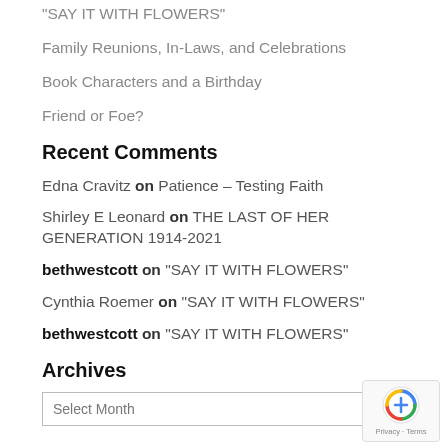“SAY IT WITH FLOWERS”
Family Reunions, In-Laws, and Celebrations
Book Characters and a Birthday
Friend or Foe?
Recent Comments
Edna Cravitz on Patience – Testing Faith
Shirley E Leonard on THE LAST OF HER GENERATION 1914-2021
bethwestcott on “SAY IT WITH FLOWERS”
Cynthia Roemer on “SAY IT WITH FLOWERS”
bethwestcott on “SAY IT WITH FLOWERS”
Archives
Select Month